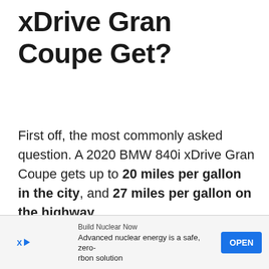xDrive Gran Coupe Get?
First off, the most commonly asked question. A 2020 BMW 840i xDrive Gran Coupe gets up to 20 miles per gallon in the city, and 27 miles per gallon on the highway.
[Figure (other): Advertisement banner: Build Nuclear Now — Advanced nuclear energy is a safe, zero-carbon solution. OPEN button.]